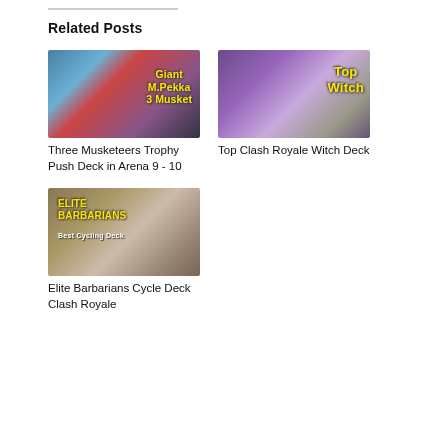Related Posts
[Figure (photo): Clash Royale Giant M.Pekka 3 Musket thumbnail image with yellow text]
Three Musketeers Trophy Push Deck in Arena 9 - 10
[Figure (photo): Clash Royale Top Witch deck thumbnail image with yellow text on purple background]
Top Clash Royale Witch Deck
[Figure (photo): Elite Barbarians Best Cycling Deck thumbnail image with yellow text]
Elite Barbarians Cycle Deck Clash Royale